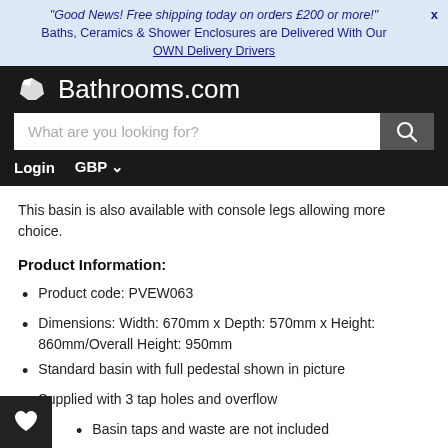"Good News! Free shipping today on orders £200 or more!" X
Baths, Ceramics & Shower Enclosures are Delivered With Our OWN Delivery Drivers
[Figure (screenshot): Bathrooms.com website header with logo, search bar, Login and GBP currency selector on dark background]
This basin is also available with console legs allowing more choice.
Product Information:
Product code: PVEW063
Dimensions: Width: 670mm x Depth: 570mm x Height: 860mm/Overall Height: 950mm
Standard basin with full pedestal shown in picture
Supplied with 3 tap holes and overflow
Basin taps and waste are not included
Matching WC and Bidet options available